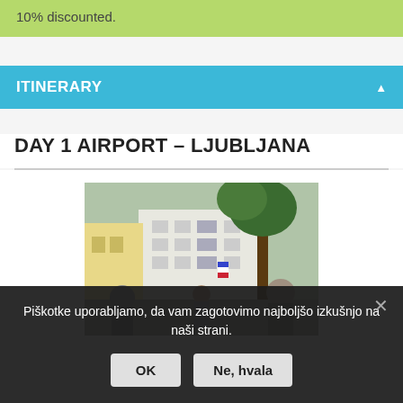10% discounted.
ITINERARY
DAY 1 AIRPORT – LJUBLJANA
[Figure (photo): Outdoor street scene showing a group of people in front of a white and yellow building with trees overhead, likely in Ljubljana.]
Piškotke uporabljamo, da vam zagotovimo najboljšo izkušnjo na naši strani.